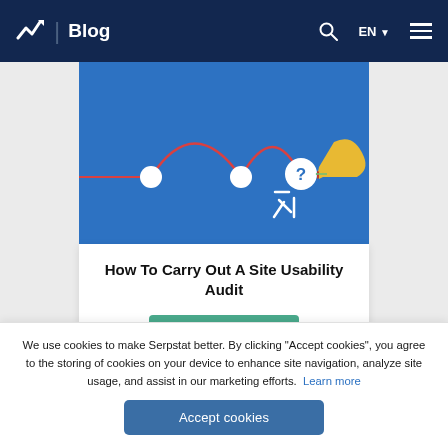Blog
[Figure (illustration): Illustration on blue background showing a hand holding a pencil pointing at a question mark circle, with nodes connected by curved red lines, representing a site usability audit concept.]
How To Carry Out A Site Usability Audit
Learn more
We use cookies to make Serpstat better. By clicking "Accept cookies", you agree to the storing of cookies on your device to enhance site navigation, analyze site usage, and assist in our marketing efforts.  Learn more
Accept cookies